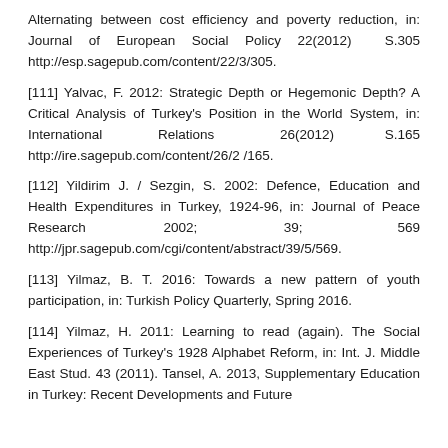Alternating between cost efficiency and poverty reduction, in: Journal of European Social Policy 22(2012) S.305 http://esp.sagepub.com/content/22/3/305.
[111] Yalvac, F. 2012: Strategic Depth or Hegemonic Depth? A Critical Analysis of Turkey's Position in the World System, in: International Relations 26(2012) S.165 http://ire.sagepub.com/content/26/2 /165.
[112] Yildirim J. / Sezgin, S. 2002: Defence, Education and Health Expenditures in Turkey, 1924-96, in: Journal of Peace Research 2002; 39; 569 http://jpr.sagepub.com/cgi/content/abstract/39/5/569.
[113] Yilmaz, B. T. 2016: Towards a new pattern of youth participation, in: Turkish Policy Quarterly, Spring 2016.
[114] Yilmaz, H. 2011: Learning to read (again). The Social Experiences of Turkey's 1928 Alphabet Reform, in: Int. J. Middle East Stud. 43 (2011). Tansel, A. 2013, Supplementary Education in Turkey: Recent Developments and Future